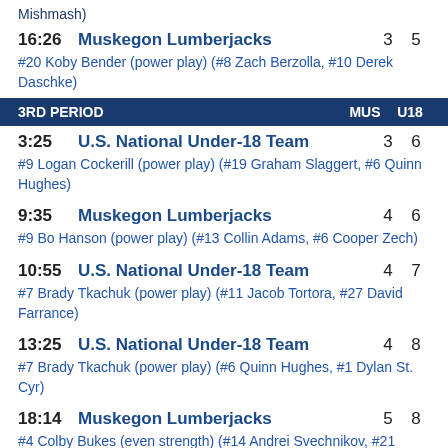Mishmash)
16:26 Muskegon Lumberjacks 3 5
#20 Koby Bender (power play) (#8 Zach Berzolla, #10 Derek Daschke)
3RD PERIOD MUS U18
3:25 U.S. National Under-18 Team 3 6
#9 Logan Cockerill (power play) (#19 Graham Slaggert, #6 Quinn Hughes)
9:35 Muskegon Lumberjacks 4 6
#9 Bo Hanson (power play) (#13 Collin Adams, #6 Cooper Zech)
10:55 U.S. National Under-18 Team 4 7
#7 Brady Tkachuk (power play) (#11 Jacob Tortora, #27 David Farrance)
13:25 U.S. National Under-18 Team 4 8
#7 Brady Tkachuk (power play) (#6 Quinn Hughes, #1 Dylan St. Cyr)
18:14 Muskegon Lumberjacks 5 8
#4 Colby Bukes (even strength) (#14 Andrei Svechnikov, #21 Casey Gilling)